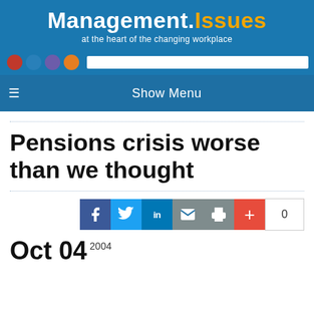Management.Issues — at the heart of the changing workplace
Pensions crisis worse than we thought
Oct 04  2004